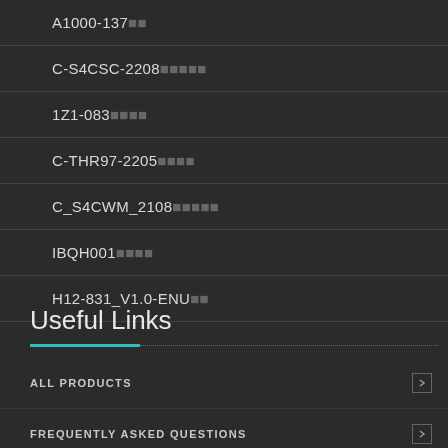A1000-137
C-S4CSC-2208
1Z1-083
C-THR97-2205
C_S4CWM_2108
IBQH001
H12-831_V1.0-ENU
Useful Links
ALL PRODUCTS
FREQUENTLY ASKED QUESTIONS